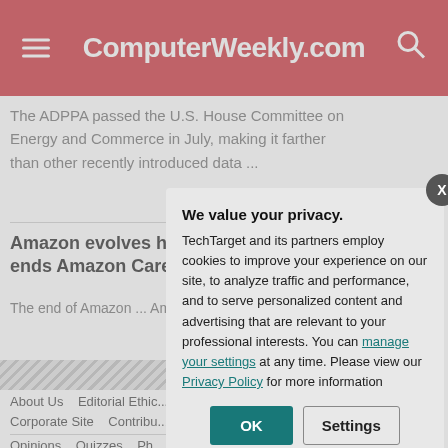ComputerWeekly.com
The ADPPA passed the U.S. House Committee on Energy and Commerce in July, making it farther than other recently introduced data ...
Amazon evolves healthcare approach, ends Amazon Care
The end of Amazon ... Amazon is turning fr...
We value your privacy.
TechTarget and its partners employ cookies to improve your experience on our site, to analyze traffic and performance, and to serve personalized content and advertising that are relevant to your professional interests. You can manage your settings at any time. Please view our Privacy Policy for more information
About Us  Editorial Ethic...  Our Use of Cookies  Ad...
Corporate Site  Contribu...  In Depth  Guides
Opinions  Quizzes  Ph...